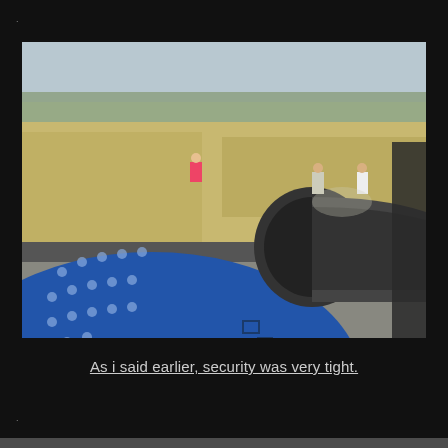[Figure (photo): View from an airplane window showing a blue aircraft engine/fuselage with rivet dots, a dark exhaust nozzle pointing right, and an open grassy airfield in the background with several people standing near the runway. Hazy sky with trees visible on the horizon.]
As i said earlier, security was very tight.